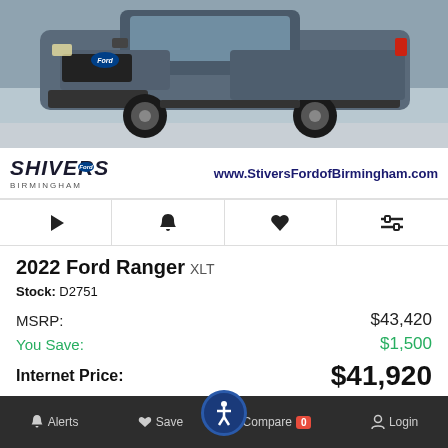[Figure (photo): Front view of a gray 2022 Ford Ranger XLT pickup truck on a parking lot background]
[Figure (logo): Stivers Ford Birmingham dealership logo with text www.StiversFordofBirmingham.com]
2022 Ford Ranger XLT
Stock: D2751
MSRP: $43,420
You Save: $1,500
Internet Price: $41,920
Get Stivers Price
Alerts  Save  Compare 0  Login